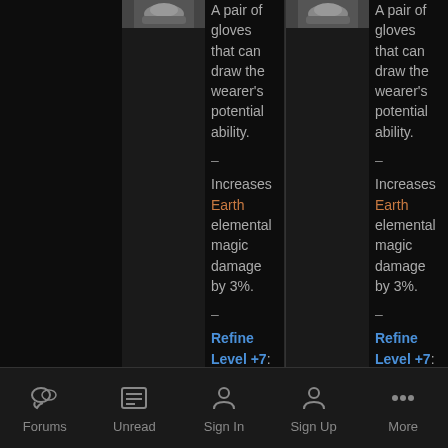[Figure (screenshot): Mobile game forum screenshot showing two side-by-side item comparison columns. Each column shows a thumbnail image of gloves, followed by item description text. Left column: 'A pair of gloves that can draw the wearer's potential ability. – Increases Earth elemental magic damage by 3%. – Refine Level +7: Increases Earth…'. Right column identical text. Bottom navigation bar with Forums, Unread, Sign In, Sign Up, More icons.]
A pair of gloves that can draw the wearer's potential ability.
–
Increases Earth elemental magic damage by 3%.
–
Refine Level +7: Increases Earth
A pair of gloves that can draw the wearer's potential ability.
–
Increases Earth elemental magic damage by 3%.
–
Refine Level +7: Increases Earth
Forums  Unread  Sign In  Sign Up  More